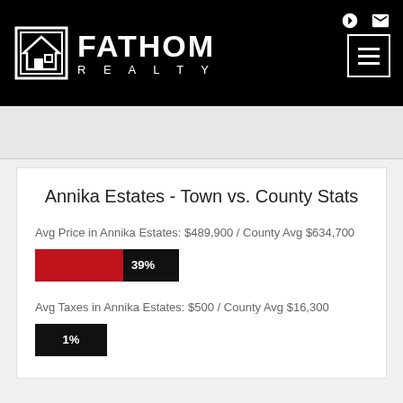[Figure (logo): Fathom Realty logo with house icon and white text on black background header with hamburger menu icon]
Annika Estates - Town vs. County Stats
Avg Price in Annika Estates: $489,900 / County Avg $634,700
[Figure (bar-chart): Avg Price bar]
Avg Taxes in Annika Estates: $500 / County Avg $16,300
[Figure (bar-chart): Avg Taxes bar]